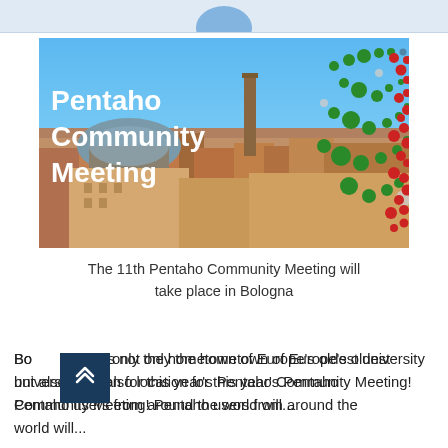[Figure (photo): Pentaho Community Meeting banner image showing the skyline of Bologna, Italy with a church dome in the foreground and the text 'Pentaho Community Meeting' overlaid in bold white letters on the left side, with decorative green and red dots on the right side.]
The 11th Pentaho Community Meeting will take place in Bologna
Bologna is not only the hometown of Europe's oldest university but also location for this year's Pentaho Community Meeting! Pentaho users from around the world will ...